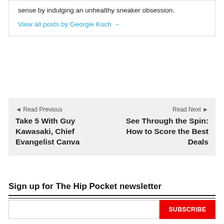sense by indulging an unhealthy sneaker obsession.
View all posts by Georgie Koch →
◄ Read Previous
Take 5 With Guy Kawasaki, Chief Evangelist Canva
Read Next ►
See Through the Spin: How to Score the Best Deals
Sign up for The Hip Pocket newsletter
First Name
Last Name